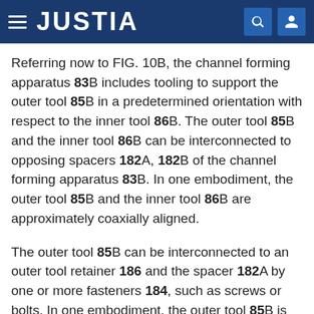JUSTIA
Referring now to FIG. 10B, the channel forming apparatus 83B includes tooling to support the outer tool 85B in a predetermined orientation with respect to the inner tool 86B. The outer tool 85B and the inner tool 86B can be interconnected to opposing spacers 182A, 182B of the channel forming apparatus 83B. In one embodiment, the outer tool 85B and the inner tool 86B are approximately coaxially aligned.
The outer tool 85B can be interconnected to an outer tool retainer 186 and the spacer 182A by one or more fasteners 184, such as screws or bolts. In one embodiment, the outer tool 85B is substantially immovably interconnected to the outer tool retainer 186.
An ejector 190 can optionally be associated with the